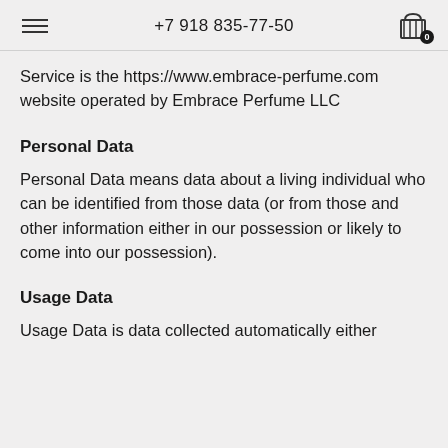+7 918 835-77-50
Service is the https://www.embrace-perfume.com website operated by Embrace Perfume LLC
Personal Data
Personal Data means data about a living individual who can be identified from those data (or from those and other information either in our possession or likely to come into our possession).
Usage Data
Usage Data is data collected automatically either